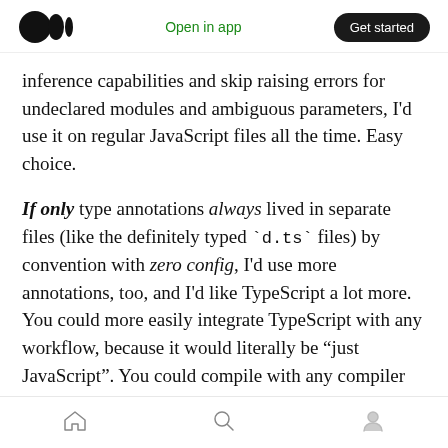Medium logo | Open in app | Get started
inference capabilities and skip raising errors for undeclared modules and ambiguous parameters, I'd use it on regular JavaScript files all the time. Easy choice.
If only type annotations always lived in separate files (like the definitely typed `d.ts` files) by convention with zero config, I'd use more annotations, too, and I'd like TypeScript a lot more. You could more easily integrate TypeScript with any workflow, because it would literally be “just JavaScript”. You could compile with any compiler that supports standard JavaScript
home | search | profile